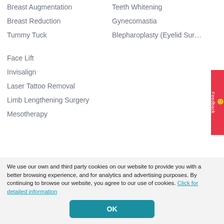Breast Augmentation
Teeth Whitening
Breast Reduction
Gynecomastia
Tummy Tuck
Blepharoplasty (Eyelid Sur...
Face Lift
Invisalign
Laser Tattoo Removal
Limb Lengthening Surgery
Mesotherapy
We use our own and third party cookies on our website to provide you with a better browsing experience, and for analytics and advertising purposes. By continuing to browse our website, you agree to our use of cookies. Click for detailed information